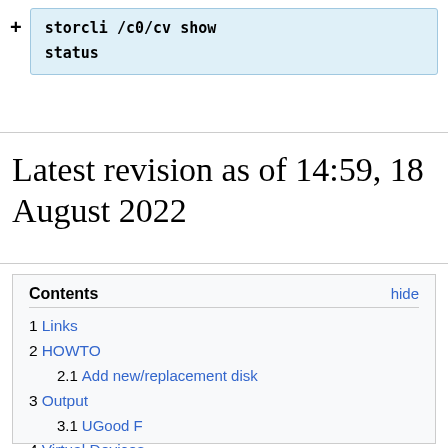[Figure (screenshot): Code block showing: storcli /c0/cv show status, with a plus sign to the left]
Latest revision as of 14:59, 18 August 2022
1 Links
2 HOWTO
2.1 Add new/replacement disk
3 Output
3.1 UGood F
4 Virtual Devices
4.1 NRWBD
4.2 Cache settings
4.2.1 read ahead